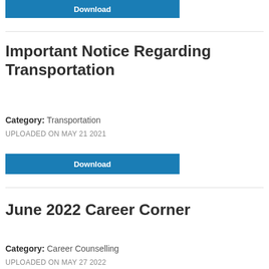[Figure (other): Blue Download button at top of page]
Important Notice Regarding Transportation
Category: Transportation
UPLOADED ON MAY 21 2021
[Figure (other): Blue Download button below first entry]
June 2022 Career Corner
Category: Career Counselling
UPLOADED ON MAY 27 2022